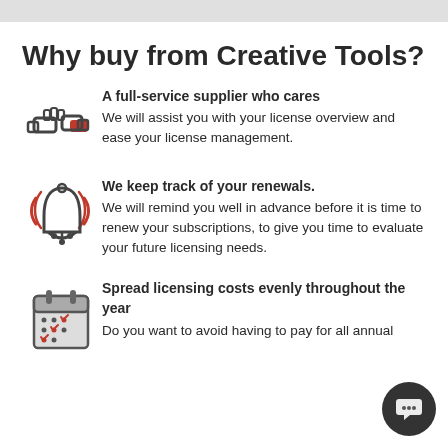Why buy from Creative Tools?
A full-service supplier who cares
We will assist you with your license overview and ease your license management.
We keep track of your renewals.
We will remind you well in advance before it is time to renew your subscriptions, to give you time to evaluate your future licensing needs.
Spread licensing costs evenly throughout the year
Do you want to avoid having to pay for all annual...